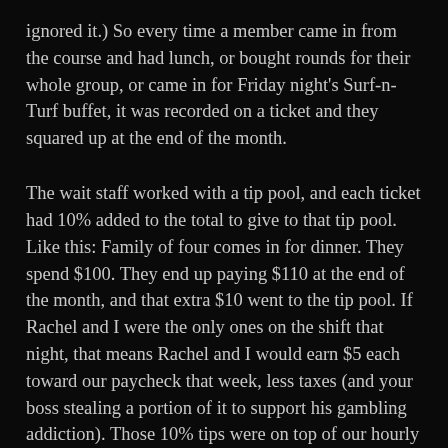ignored it.) So every time a member came in from the course and had lunch, or bought rounds for their whole group, or came in for Friday night's Surf-n-Turf buffet, it was recorded on a ticket and they squared up at the end of the month.
The wait staff worked with a tip pool, and each ticket had 10% added to the total to give to that tip pool. Like this: Family of four comes in for dinner. They spend $100. They end up paying $110 at the end of the month, and that extra $10 went to the tip pool. If Rachel and I were the only ones on the shift that night, that means Rachel and I would earn $5 each toward our paycheck that week, less taxes (and your boss stealing a portion of it to support his gambling addiction). Those 10% tips were on top of our hourly wage, which I think hovered